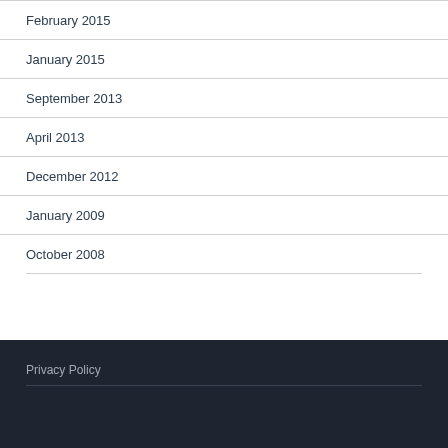February 2015
January 2015
September 2013
April 2013
December 2012
January 2009
October 2008
Privacy Policy